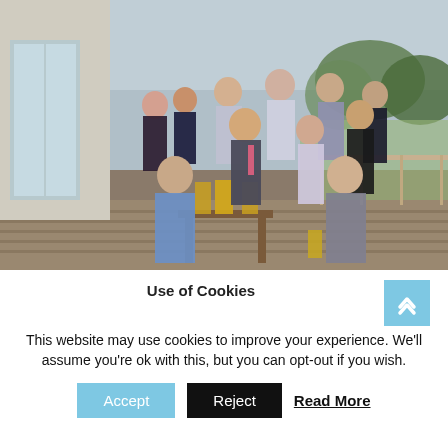[Figure (photo): Group photo of approximately 13 people, men and women, dressed semi-formally, gathered on an outdoor terrace or deck of a building. Some are seated at a wooden table with pint glasses of beer, others standing behind. Countryside/trees visible in background.]
Use of Cookies
This website may use cookies to improve your experience. We'll assume you're ok with this, but you can opt-out if you wish.
Accept   Reject   Read More